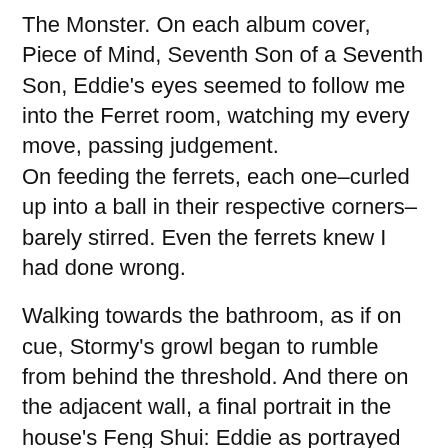The Monster. On each album cover, Piece of Mind, Seventh Son of a Seventh Son, Eddie's eyes seemed to follow me into the Ferret room, watching my every move, passing judgement.
On feeding the ferrets, each one–curled up into a ball in their respective corners–barely stirred. Even the ferrets knew I had done wrong.
Walking towards the bathroom, as if on cue, Stormy's growl began to rumble from behind the threshold. And there on the adjacent wall, a final portrait in the house's Feng Shui: Eddie as portrayed on the cover of Iron Maiden's most startling album, Number of the Beast.
He, lurking in the backdrop of some otherworldly maelstrom, his right, skeletal arm reaching out, puppeteering satan as he walks upon fire and brimstone.